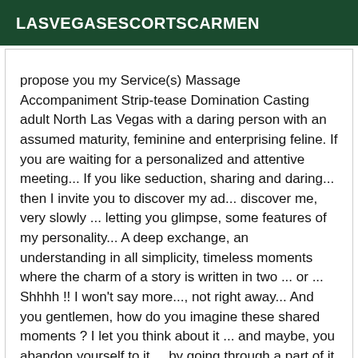LASVEGASESCORTSCARMEN
propose you my Service(s) Massage Accompaniment Strip-tease Domination Casting adult North Las Vegas with a daring person with an assumed maturity, feminine and enterprising feline. If you are waiting for a personalized and attentive meeting... If you like seduction, sharing and daring... then I invite you to discover my ad... discover me, very slowly ... letting you glimpse, some features of my personality... A deep exchange, an understanding in all simplicity, timeless moments where the charm of a story is written in two ... or ... Shhhh !! I won't say more..., not right away... And you gentlemen, how do you imagine these shared moments ? I let you think about it ... and maybe, you abandon yourself to it ... by going through a part of it ... Thanks to those who trust me by revealing their secrets, giving all its meaning to this moment of exchange. NO SECURE CALL ,,,, from the United States -